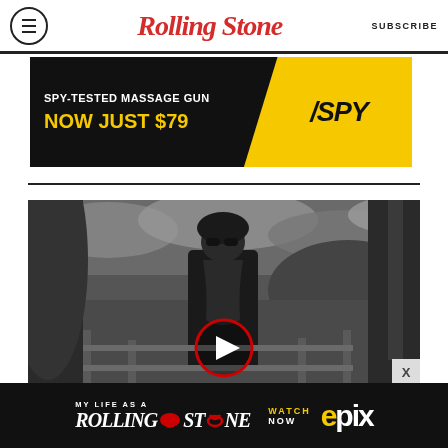Rolling Stone | SUBSCRIBE
[Figure (photo): Advertisement banner: SPY-TESTED MASSAGE GUN NOW JUST $79 with SPY logo on yellow background]
[Figure (photo): Black and white photo of a man with long beard and sunglasses seated outdoors with a video play button overlay]
[Figure (photo): Advertisement banner: MY LIFE AS A ROLLING STONE - WATCH NOW EPIX]